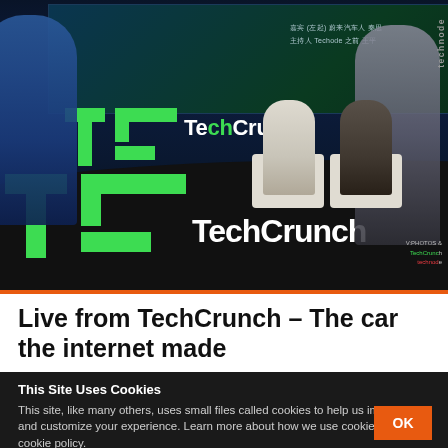[Figure (photo): Photo of a TechCrunch event stage with TechCrunch and Technode branding. Two people are seated on stage for a panel discussion. A large LED screen is visible in the background with Chinese text. The stage floor has large TechCrunch and Technode logos.]
Live from TechCrunch – The car the internet made
This Site Uses Cookies
This site, like many others, uses small files called cookies to help us improve and customize your experience. Learn more about how we use cookies in our cookie policy.